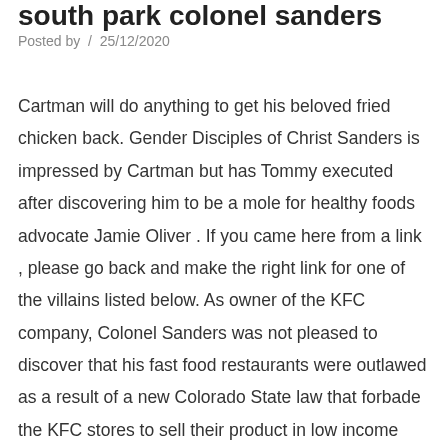south park colonel sanders
Posted by  /  25/12/2020
Cartman will do anything to get his beloved fried chicken back. Gender Disciples of Christ Sanders is impressed by Cartman but has Tommy executed after discovering him to be a mole for healthy foods advocate Jamie Oliver . If you came here from a link , please go back and make the right link for one of the villains listed below. As owner of the KFC company, Colonel Sanders was not pleased to discover that his fast food restaurants were outlawed as a result of a new Colorado State law that forbade the KFC stores to sell their product in low income areas. Occupation South Park Unfortunately, his men met